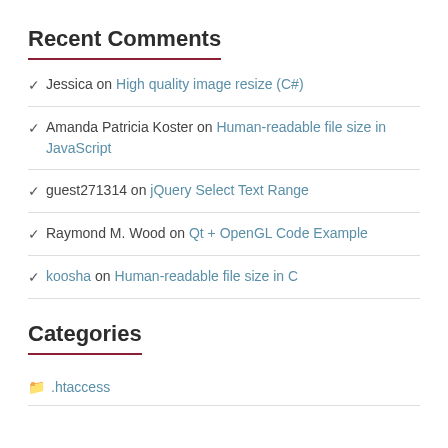Recent Comments
Jessica on High quality image resize (C#)
Amanda Patricia Koster on Human-readable file size in JavaScript
guest271314 on jQuery Select Text Range
Raymond M. Wood on Qt + OpenGL Code Example
koosha on Human-readable file size in C
Categories
.htaccess